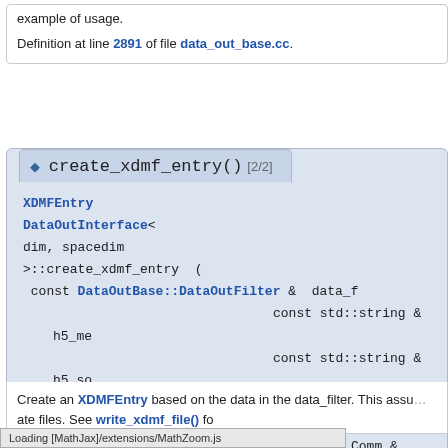example of usage.
Definition at line 2891 of file data_out_base.cc.
◆ create_xdmf_entry() [2/2]
XDMFEntry DataOutInterface< dim, spacedim >::create_xdmf_entry ( const DataOutBase::DataOutFilter & data_f, const std::string & h5_me, const std::string & h5_so, const double cur_ti, const MPI_Comm & comm, ) const
Create an XDMFEntry based on the data in the data_filter. This assu... ate files. See write_xdmf_file() fo
Loading [MathJax]/extensions/MathZoom.js